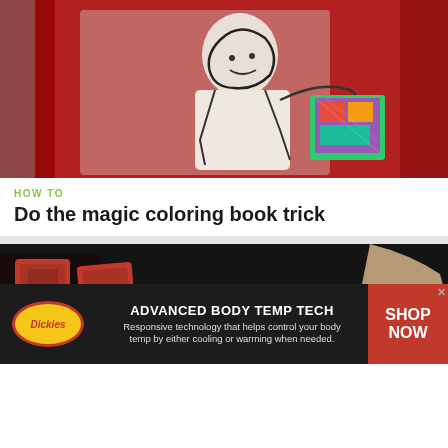[Figure (photo): Magic coloring book trick photo: person in white holding a colorful book against a red curtain background]
HOW TO
Do the magic coloring book trick
[Figure (photo): Hands with playing cards and coins on a dark surface]
[Figure (photo): Dickies advertisement banner: ADVANCED BODY TEMP TECH - Responsive technology that helps control your body temp by either cooling or warming when needed. SHOP NOW]